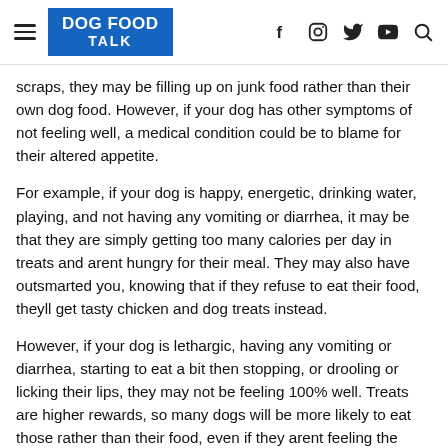DOG FOOD TALK
scraps, they may be filling up on junk food rather than their own dog food. However, if your dog has other symptoms of not feeling well, a medical condition could be to blame for their altered appetite.
For example, if your dog is happy, energetic, drinking water, playing, and not having any vomiting or diarrhea, it may be that they are simply getting too many calories per day in treats and arent hungry for their meal. They may also have outsmarted you, knowing that if they refuse to eat their food, theyll get tasty chicken and dog treats instead.
However, if your dog is lethargic, having any vomiting or diarrhea, starting to eat a bit then stopping, or drooling or licking their lips, they may not be feeling 100% well. Treats are higher rewards, so many dogs will be more likely to eat those rather than their food, even if they arent feeling the best. Think of a time when youve had an upset stomach but